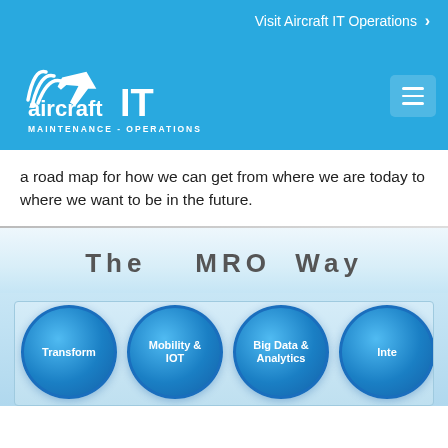Visit Aircraft IT Operations ›
[Figure (logo): Aircraft IT Maintenance - Operations logo in white on blue background with airplane icon]
a road map for how we can get from where we are today to where we want to be in the future.
The   MRO Way
[Figure (infographic): Row of circular buttons labeled: Transform, Mobility & IOT, Big Data & Analytics, Inte... (partially visible)]